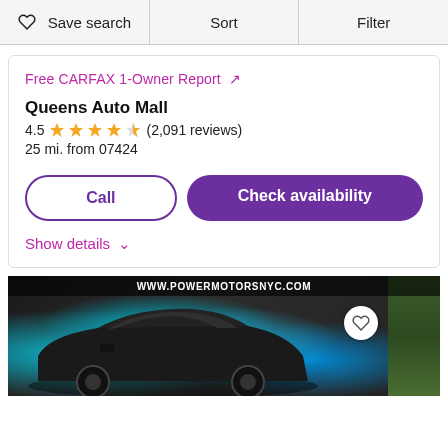Save search | Sort | Filter
Free CARFAX 1-Owner Report ↗
Queens Auto Mall
4.5 ★★★★½ (2,091 reviews)
25 mi. from 07424
Call | Check availability
Show details ∨
[Figure (photo): Car listing photo showing a dark sedan in front of a graffiti-covered wall, with a white heart/save button in upper right. A website URL bar reads www.powermotorsnyc.com at the top of the image.]